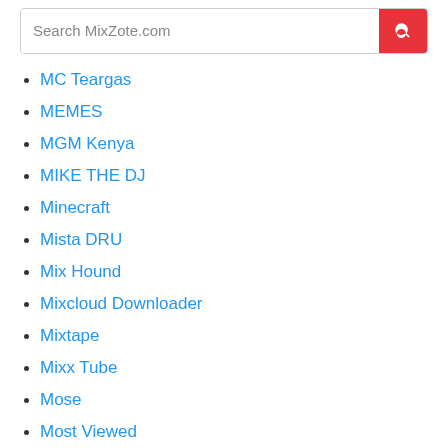[Figure (screenshot): Search bar with placeholder text 'Search MixZote.com' and a red search button with magnifying glass icon]
MC Teargas
MEMES
MGM Kenya
MIKE THE DJ
Minecraft
Mista DRU
Mix Hound
Mixcloud Downloader
Mixtape
Mixx Tube
Mose
Most Viewed
Motivational Inspiring
Mr MoMo Music